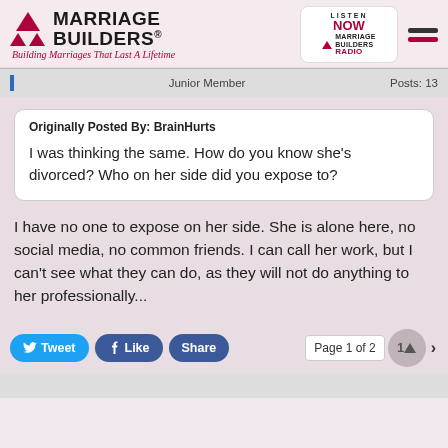[Figure (logo): Marriage Builders logo with two red triangles and tagline 'Building Marriages That Last A Lifetime', alongside Marriage Builders Radio badge and hamburger menu]
Junior Member   Posts: 13
Originally Posted By: BrainHurts
I was thinking the same. How do you know she's divorced? Who on her side did you expose to?
I have no one to expose on her side. She is alone here, no social media, no common friends. I can call her work, but I can't see what they can do, as they will not do anything to her professionally...
Tweet  Like  Share  Page 1 of 2  1  2  >